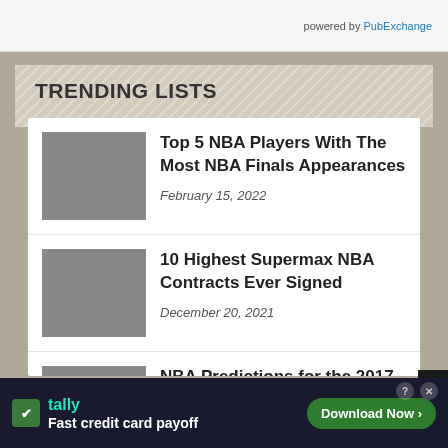powered by PubExchange
TRENDING LISTS
[Figure (photo): NBA players embracing on basketball court]
Top 5 NBA Players With The Most NBA Finals Appearances
February 15, 2022
[Figure (photo): NBA players in Golden State Warriors jersey]
10 Highest Supermax NBA Contracts Ever Signed
December 20, 2021
[Figure (photo): NBA players in game action, Cavaliers vs another team]
NBA Predictions for the 2017-18 Season
October 24, 2017
Tally — Fast credit card payoff — Download Now